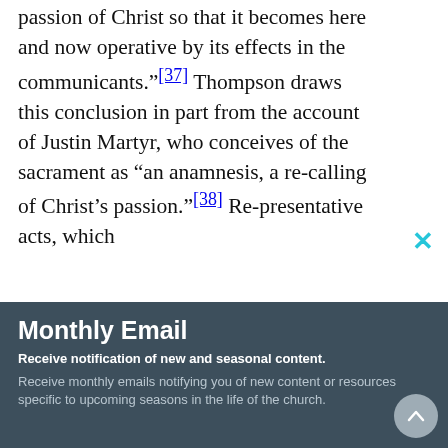passion of Christ so that it becomes here and now operative by its effects in the communicants."[37] Thompson draws this conclusion in part from the account of Justin Martyr, who conceives of the sacrament as "an anamnesis, a re-calling of Christ's passion."[38] Re-presentative acts, which
Monthly Email
Receive notification of new and seasonal content.
Receive monthly emails notifying you of new content or resources specific to upcoming seasons in the life of the church.